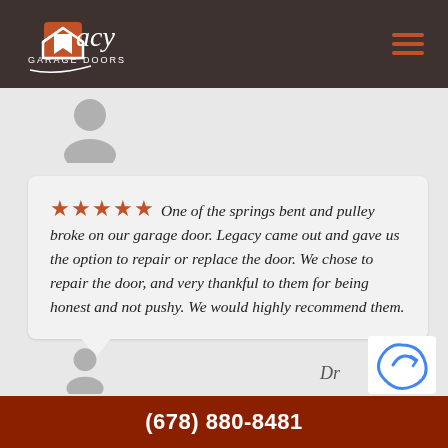[Figure (logo): Legacy Garage Doors logo in white script on dark brown header background with orange/red house icon]
[Figure (illustration): Grey silhouette avatar icon of a person (profile placeholder)]
★★★★★ One of the springs bent and pulley broke on our garage door. Legacy came out and gave us the option to repair or replace the door. We chose to repair the door, and very thankful to them for being honest and not pushy. We would highly recommend them.
[Figure (illustration): Grey silhouette avatar icon of a person (profile placeholder) at bottom]
(678) 880-8481